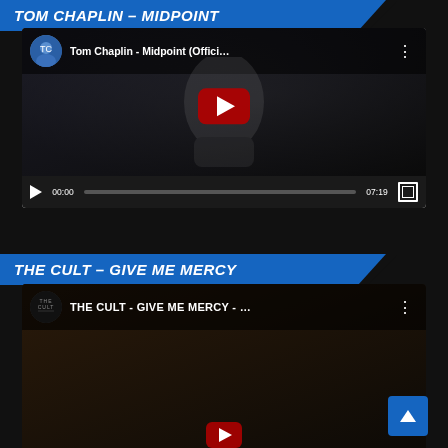TOM CHAPLIN – MIDPOINT
[Figure (screenshot): YouTube video embed showing 'Tom Chaplin - Midpoint (Offici...' with play button, timestamp 00:00 and duration 07:19]
THE CULT – GIVE ME MERCY
[Figure (screenshot): YouTube video embed showing 'THE CULT - GIVE ME MERCY - ...' partially visible, with play button beginning to show]